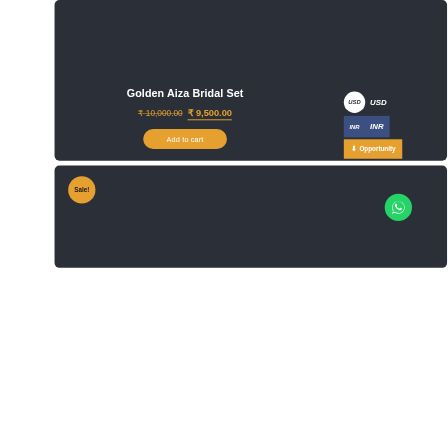[Figure (screenshot): Product card for Golden Aiza Bridal Set on a dark e-commerce interface showing price ₹10,000.00 crossed out and ₹9,500.00 in orange, with Add to cart button, currency selector showing USD and INR options, and Opportunity button]
Golden Aiza Bridal Set
₹ 10,000.00 ₹ 9,500.00
Add to cart
USD
INR
Opportunity
Sale!